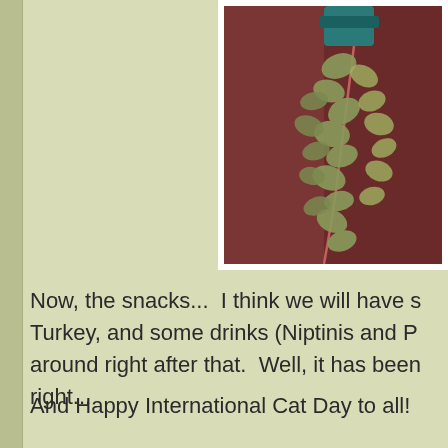[Figure (photo): A hanging plant with ivy-like leaves, teal/blue pot visible, against a dark reddish-brown background. Photo has white border/frame.]
Now, the snacks...  I think we will have s Turkey, and some drinks (Niptinis and P around right after that.  Well, it has beer right...
And Happy International Cat Day to all!